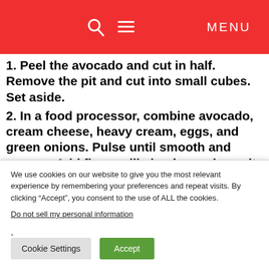MENU
1. Peel the avocado and cut in half. Remove the pit and cut into small cubes. Set aside.
2. In a food processor, combine avocado, cream cheese, heavy cream, eggs, and green onions. Pulse until smooth and creamy. Add flour, milk, husk powder, salt, smoked paprika, garlic, and lime juice.
Pulse again until all well incorporated. Pour the batter...
We use cookies on our website to give you the most relevant experience by remembering your preferences and repeat visits. By clicking “Accept”, you consent to the use of ALL the cookies.
Do not sell my personal information.